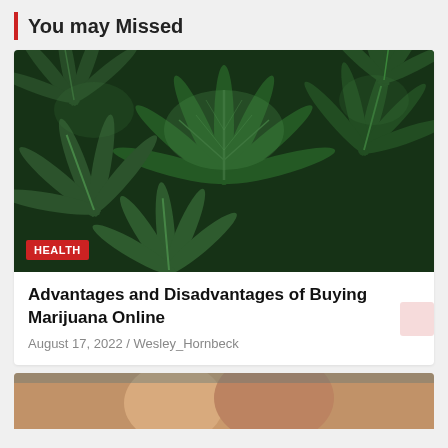You may Missed
[Figure (photo): Close-up photo of green cannabis/marijuana leaves filling the frame]
HEALTH
Advantages and Disadvantages of Buying Marijuana Online
August 17, 2022 / Wesley_Hornbeck
[Figure (photo): Partial photo showing a person, cropped at bottom of page]